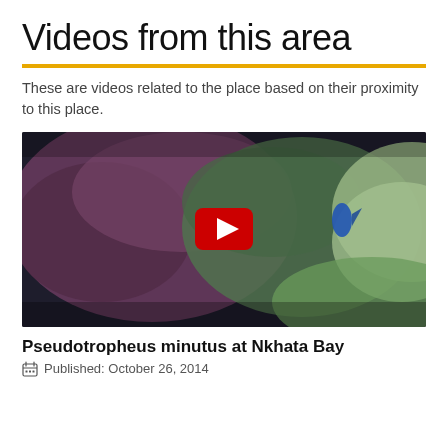Videos from this area
These are videos related to the place based on their proximity to this place.
[Figure (screenshot): Video thumbnail showing coral rocks with a blue fish and a red YouTube play button overlay, underwater scene at Nkhata Bay]
Pseudotropheus minutus at Nkhata Bay
Published: October 26, 2014